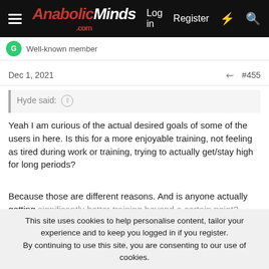AnabolicMinds.com — Log in  Register
Well-known member
Dec 1, 2021  #455
Hyde said: ↑
Yeah I am curious of the actual desired goals of some of the users in here. Is this for a more enjoyable training, not feeling as tired during work or training, trying to actually get/stay high for long periods?

Because those are different reasons. And is anyone actually getting significantly better training beyond a certain point? Many responses
This site uses cookies to help personalise content, tailor your experience and to keep you logged in if you register.
By continuing to use this site, you are consenting to our use of cookies.
Topic of the Week: The Single Best Supplement You've Taken